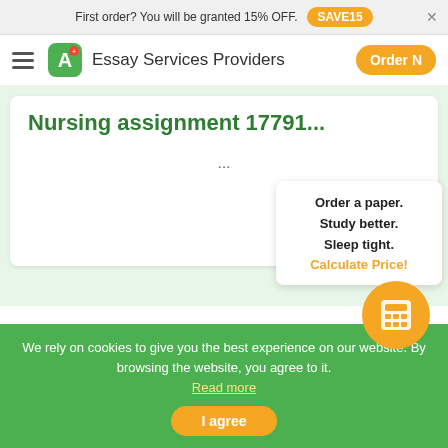First order? You will be granted 15% OFF. SAVE15
Essay Services Providers | Order Now
Nursing assignment 17791...
...
Order a paper. Study better. Sleep tight. Calculate Price!
We rely on cookies to give you the best experience on our website. By browsing the website, you agree to it. Read more
I agree